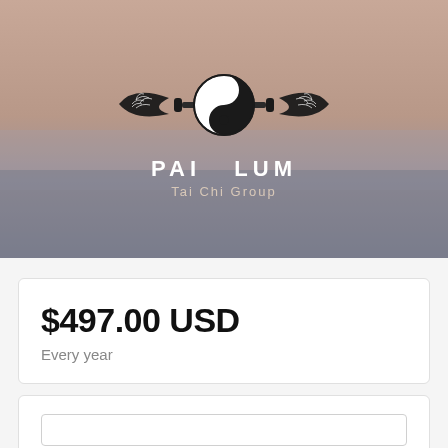[Figure (logo): Pai Lum Tai Chi Group hero banner with yin-yang logo, decorative wings, and brand name on a muted sunset/landscape background]
$497.00 USD
Every year